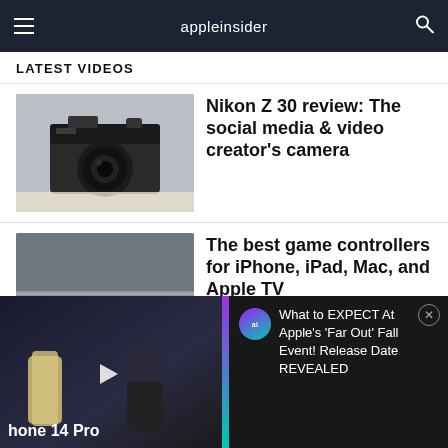appleinsider
LATEST VIDEOS
[Figure (photo): Nikon Z 30 camera on a white surface]
Nikon Z 30 review: The social media & video creator's camera
[Figure (photo): Game controllers for iPhone, iPad, Mac, and Apple TV on a table]
The best game controllers for iPhone, iPad, Mac, and Apple TV
[Figure (screenshot): Advertisement banner: What to EXPECT At Apple's 'Far Out' Fall Event! Release Date REVEALED — with iPhone 14 Pro and Apple executive on stage]